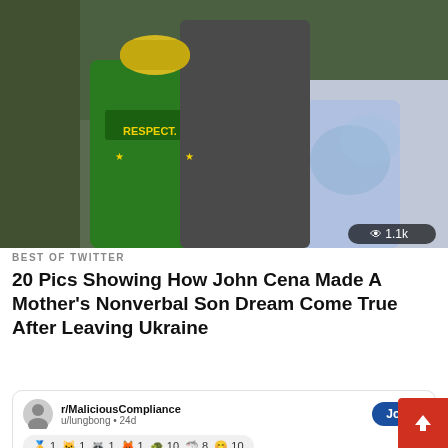[Figure (photo): Two people and a taller person posing outdoors. The person on the left wears a green 'RESPECT' t-shirt with a yellow cap. The person on the right wears a blue and white tie-dye top. A white plastic chair is visible in the background. A view counter badge shows '1.1k' in the bottom right corner of the image.]
BEST OF TWITTER
20 Pics Showing How John Cena Made A Mother's Nonverbal Son Dream Come True After Leaving Ukraine
[Figure (screenshot): A Reddit-style card showing subreddit r/MaliciousCompliance, user u/lungbong, posted 24d ago, with a blue 'Join' button. Below are emoji reaction counts: 1, 1, 1, 1, 10, 8, 10. Title reads 'Automated my useless boss out of her job'. A green avatar circle with letter M is shown. A view counter shows '1.4k'.]
BEST OF REDDIT
25 Pics Showing How An Employee Made Her